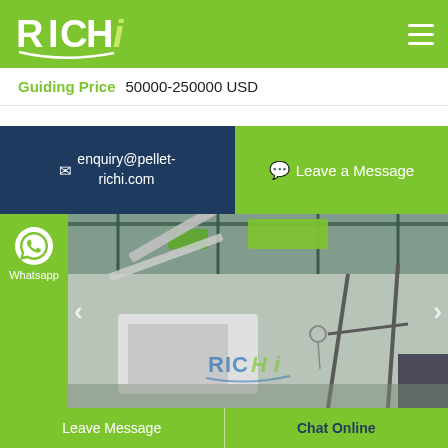RICHI
Guiding Price  50000-250000 USD
enquiry@pellet-richi.com
Leave a Message
[Figure (photo): Factory interior showing pellet mill machinery with RICHI branding watermark, industrial equipment including conveyors and steel frame structures]
Whatsapp
Leave Message    Chat Online